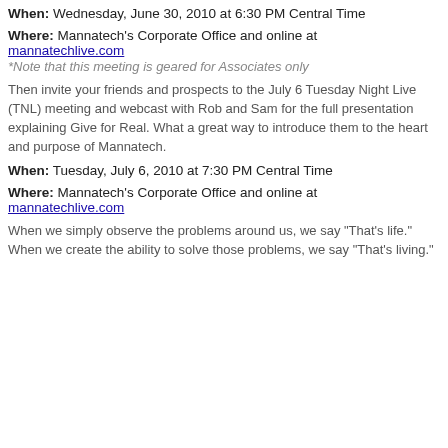When: Wednesday, June 30, 2010 at 6:30 PM Central Time
Where: Mannatech's Corporate Office and online at mannatechlive.com
*Note that this meeting is geared for Associates only
Then invite your friends and prospects to the July 6 Tuesday Night Live (TNL) meeting and webcast with Rob and Sam for the full presentation explaining Give for Real. What a great way to introduce them to the heart and purpose of Mannatech.
When: Tuesday, July 6, 2010 at 7:30 PM Central Time
Where: Mannatech's Corporate Office and online at mannatechlive.com
When we simply observe the problems around us, we say "That's life." When we create the ability to solve those problems, we say "That's living."